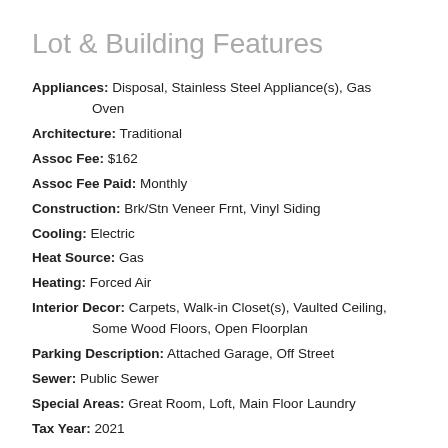Lot & Building Features
Appliances: Disposal, Stainless Steel Appliance(s), Gas Oven
Architecture: Traditional
Assoc Fee: $162
Assoc Fee Paid: Monthly
Construction: Brk/Stn Veneer Frnt, Vinyl Siding
Cooling: Electric
Heat Source: Gas
Heating: Forced Air
Interior Decor: Carpets, Walk-in Closet(s), Vaulted Ceiling, Some Wood Floors, Open Floorplan
Parking Description: Attached Garage, Off Street
Sewer: Public Sewer
Special Areas: Great Room, Loft, Main Floor Laundry
Tax Year: 2021